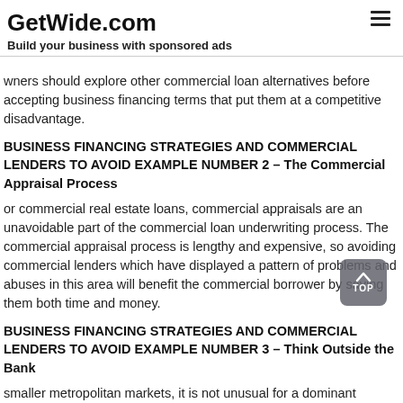GetWide.com
Build your business with sponsored ads
wners should explore other commercial loan alternatives before accepting business financing terms that put them at a competitive disadvantage.
BUSINESS FINANCING STRATEGIES AND COMMERCIAL LENDERS TO AVOID EXAMPLE NUMBER 2 – The Commercial Appraisal Process
or commercial real estate loans, commercial appraisals are an unavoidable part of the commercial loan underwriting process. The commercial appraisal process is lengthy and expensive, so avoiding commercial lenders which have displayed a pattern of problems and abuses in this area will benefit the commercial borrower by saving them both time and money.
BUSINESS FINANCING STRATEGIES AND COMMERCIAL LENDERS TO AVOID EXAMPLE NUMBER 3 – Think Outside the Bank
smaller metropolitan markets, it is not unusual for a dominant commercial lender to impose harsher commercial loan terms than would typically be seen in a more competitive commercial financing market. Such commercial lenders routinely take